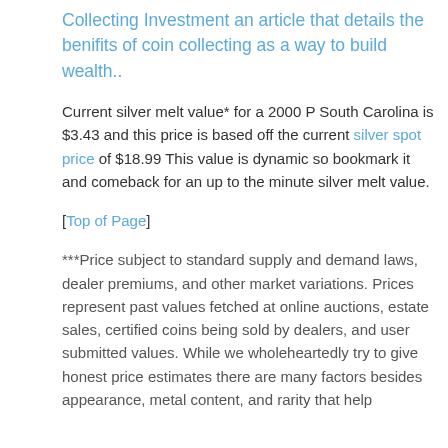Collecting Investment an article that details the benifits of coin collecting as a way to build wealth..
Current silver melt value* for a 2000 P South Carolina is $3.43 and this price is based off the current silver spot price of $18.99 This value is dynamic so bookmark it and comeback for an up to the minute silver melt value.
[Top of Page]
***Price subject to standard supply and demand laws, dealer premiums, and other market variations. Prices represent past values fetched at online auctions, estate sales, certified coins being sold by dealers, and user submitted values. While we wholeheartedly try to give honest price estimates there are many factors besides appearance, metal content, and rarity that help